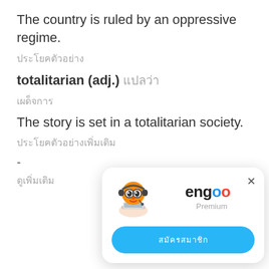The country is ruled by an oppressive regime.
ประโยคตัวอย่าง
totalitarian (adj.) แปลว่า
เผด็จการ
The story is set in a totalitarian society.
ประโยคตัวอย่างเพิ่มเติม
-
ดูเพิ่มเติม
[Figure (other): Engoo app popup with mascot character, logo, Premium text, and a Thai-language button]